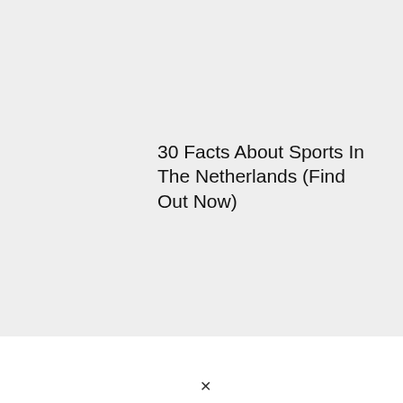30 Facts About Sports In The Netherlands (Find Out Now)